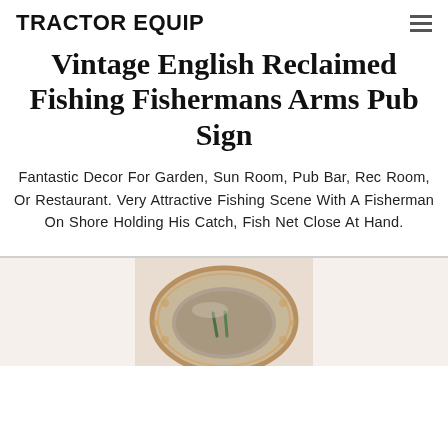TRACTOR EQUIP
Vintage English Reclaimed Fishing Fishermans Arms Pub Sign
Fantastic Decor For Garden, Sun Room, Pub Bar, Rec Room, Or Restaurant. Very Attractive Fishing Scene With A Fisherman On Shore Holding His Catch, Fish Net Close At Hand.
[Figure (photo): Photo of a vintage English pub sign showing a decorative circular/oval plaque with a fishing scene, featuring an ornate border with floral motifs, viewed from above at an angle.]